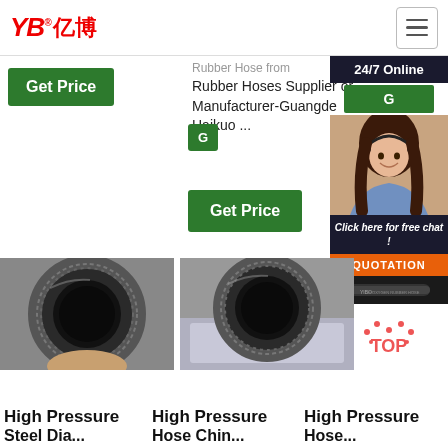[Figure (logo): YB亿博 logo in red with registered trademark symbol]
[Figure (screenshot): Hamburger menu button top right]
Get Price
Rubber Hoses Supplier or Manufacturer-Guangde Haikuo ...
Get Price
[Figure (infographic): Customer service chat widget with 24/7 Online label, female agent photo, Click here for free chat!, QUOTATION button, YIBO oxygen rubber hose image, and TOP button]
[Figure (photo): Close-up photo of black rubber hose end view]
[Figure (photo): Close-up photo of black rubber hose end view second]
High Pressure
High Pressure
High Pressure